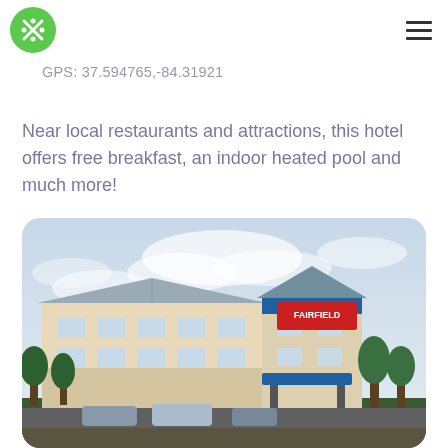GPS: 37.594765,-84.31921
Near local restaurants and attractions, this hotel offers free breakfast, an indoor heated pool and much more!
[Figure (photo): Exterior photo of a Fairfield Inn & Suites style hotel building with beige/tan siding, metal roof, blue canopy entrance, evergreen trees and parking lot in foreground, cloudy sky above.]